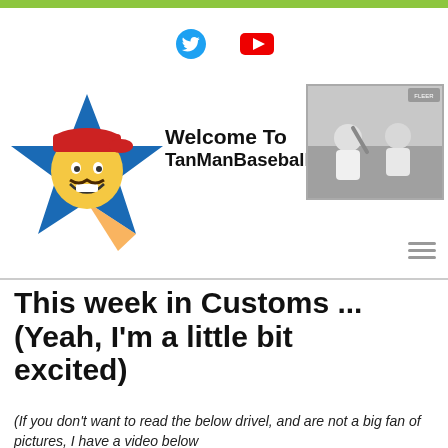[Figure (logo): Green top navigation bar]
[Figure (logo): Twitter bird icon (blue) and YouTube play button icon (red) social media links in header bar]
[Figure (illustration): TanManBaseballFan.com website header with animated mascot character (yellow-skinned cartoon man with red cap and mustache on blue star background) on left, bold text 'Welcome To TanManBaseballFan.com' in center, and black-and-white photo of a baseball player on right]
This week in Customs ... (Yeah, I'm a little bit excited)
(If you don't want to read the below drivel, and are not a big fan of pictures, I have a video below